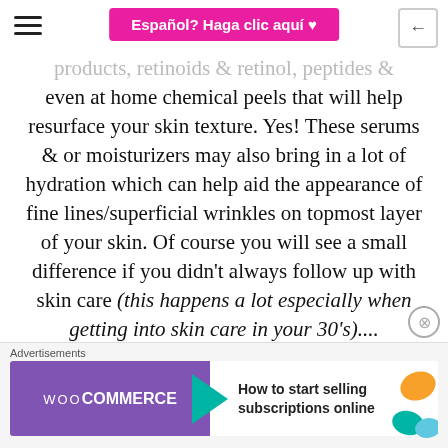Español? Haga clic aquí ♥
products, retinoids & retinol, peptides & even at home chemical peels that will help resurface your skin texture. Yes! These serums & or moisturizers may also bring in a lot of hydration which can help aid the appearance of fine lines/superficial wrinkles on topmost layer of your skin. Of course you will see a small difference if you didn't always follow up with skin care (this happens a lot especially when getting into skin care in your 30's)....
[Figure (screenshot): WooCommerce advertisement banner: 'How to start selling subscriptions online']